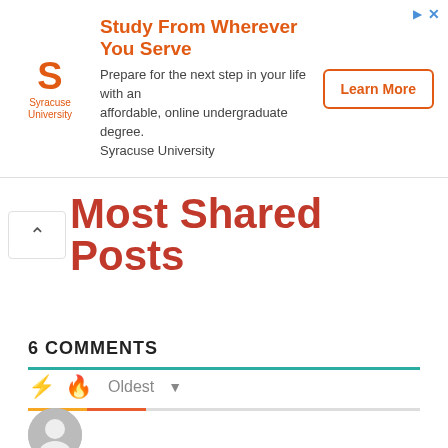[Figure (other): Syracuse University advertisement banner. Logo with orange 'S' and text 'Syracuse University'. Ad title: 'Study From Wherever You Serve'. Body: 'Prepare for the next step in your life with an affordable, online undergraduate degree. Syracuse University'. Button: 'Learn More'. Ad icons top right.]
Most Shared Posts
6 COMMENTS
Oldest (sort dropdown with bolt and fire icons)
[Figure (other): User avatar placeholder circle in gray]